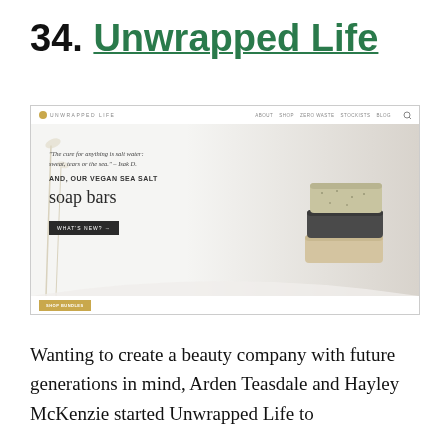34. Unwrapped Life
[Figure (screenshot): Screenshot of the Unwrapped Life website homepage showing navigation bar with logo, hero banner with quote 'The cure for anything is salt water: sweat, tears or the sea.' - Isak D., text AND, OUR VEGAN SEA SALT soap bars, a WHAT'S NEW? button, and stacked soap bars on the right side]
Wanting to create a beauty company with future generations in mind, Arden Teasdale and Hayley McKenzie started Unwrapped Life to